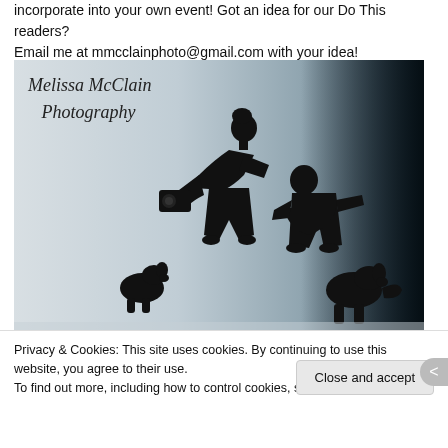incorporate into your own event!  Got an idea for our Do This readers? Email me at mmcclainphoto@gmail.com with your idea!
[Figure (photo): Melissa McClain Photography logo image showing silhouette of a person with camera bending forward with a child and two dogs against a light-to-dark gradient background, with cursive script text 'Melissa McClain Photography' in upper left]
Privacy & Cookies: This site uses cookies. By continuing to use this website, you agree to their use.
To find out more, including how to control cookies, see here: Cookie Policy
Close and accept